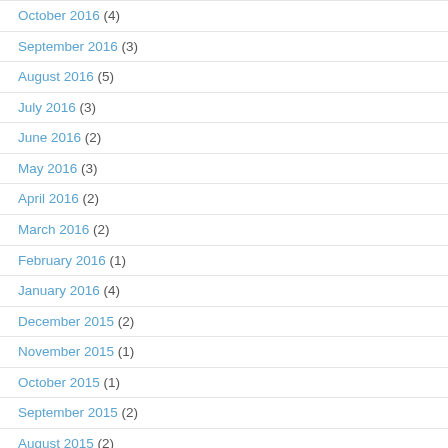October 2016 (4)
September 2016 (3)
August 2016 (5)
July 2016 (3)
June 2016 (2)
May 2016 (3)
April 2016 (2)
March 2016 (2)
February 2016 (1)
January 2016 (4)
December 2015 (2)
November 2015 (1)
October 2015 (1)
September 2015 (2)
August 2015 (2)
July 2015 (3)
May 2015 (2)
April 2015 (2)